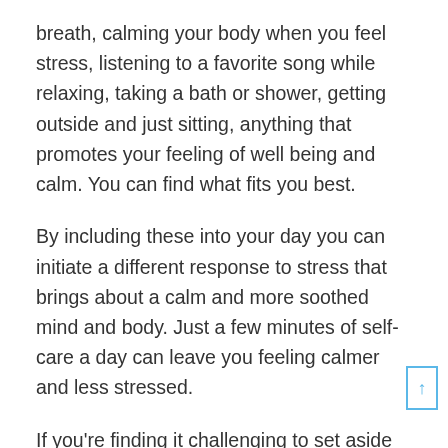breath, calming your body when you feel stress, listening to a favorite song while relaxing, taking a bath or shower, getting outside and just sitting, anything that promotes your feeling of well being and calm. You can find what fits you best.
By including these into your day you can initiate a different response to stress that brings about a calm and more soothed mind and body. Just a few minutes of self-care a day can leave you feeling calmer and less stressed.
If you're finding it challenging to set aside time for self-care, simply taking a moment to ask yourself how you are feeling emotionally and physically which